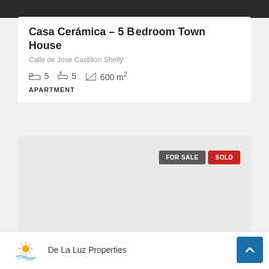[Figure (photo): Dark image strip at top of page showing a property]
Casa Cerámica – 5 Bedroom Town House
Calle de Jose Castillon Shelly
5 bedrooms  5 bathrooms  600 m²
APARTMENT
[Figure (other): Gray card area with FOR SALE and SOLD buttons]
De La Luz Properties